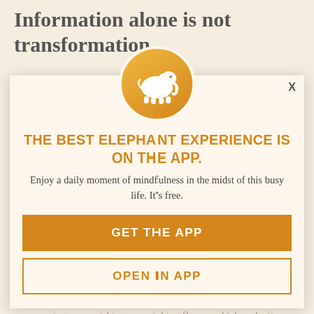Information alone is not transformation
Yup. Understanding our Blueprint type is a crucial slice of getting a holistic view of who we truly are as sexual beings—but it's not empowering or nourishing or enriching flavors which make it yours.
[Figure (logo): Elephant Journal app logo — white elephant silhouette on orange/gold circle]
THE BEST ELEPHANT EXPERIENCE IS ON THE APP.
Enjoy a daily moment of mindfulness in the midst of this busy life. It's free.
GET THE APP
OPEN IN APP
1. Your Erotic Blueprint Type
2. Your Sexuality Stage
3. Core/Shadow Knowledge